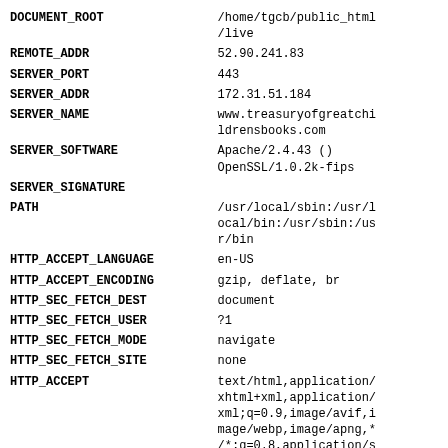| Variable | Value |
| --- | --- |
| DOCUMENT_ROOT | /home/tgcb/public_html/live |
| REMOTE_ADDR | 52.90.241.83 |
| SERVER_PORT | 443 |
| SERVER_ADDR | 172.31.51.184 |
| SERVER_NAME | www.treasuryofgreatchildrensbooks.com |
| SERVER_SOFTWARE | Apache/2.4.43 () OpenSSL/1.0.2k-fips |
| SERVER_SIGNATURE |  |
| PATH | /usr/local/sbin:/usr/local/bin:/usr/sbin:/usr/bin |
| HTTP_ACCEPT_LANGUAGE | en-US |
| HTTP_ACCEPT_ENCODING | gzip, deflate, br |
| HTTP_SEC_FETCH_DEST | document |
| HTTP_SEC_FETCH_USER | ?1 |
| HTTP_SEC_FETCH_MODE | navigate |
| HTTP_SEC_FETCH_SITE | none |
| HTTP_ACCEPT | text/html,application/xhtml+xml,application/xml;q=0.9,image/avif,image/webp,image/apng,*/*;q=0.8,application/signed-exchange;v=b3;q=0.9 |